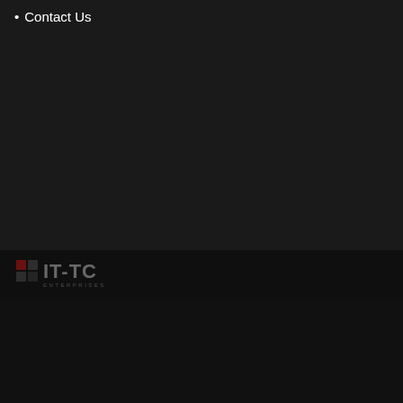Contact Us
[Figure (logo): IT-TC logo with red and grey icon and grey text on dark bar]